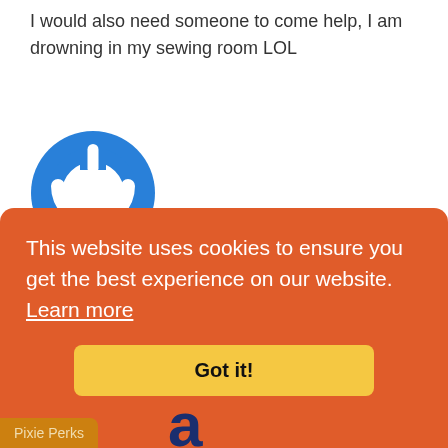I would also need someone to come help, I am drowning in my sewing room LOL
[Figure (logo): Blue circular power button icon / user avatar]
April
April 29, 2020
Space is certainly an issue, but I find it hardest to organize all the tiny notions
This website uses cookies to ensure you get the best experience on our website.  Learn more
Got it!
Pixie Perks
a